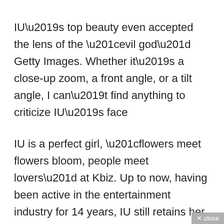IU's top beauty even accepted the lens of the “evil god” Getty Images. Whether it’s a close-up zoom, a front angle, or a tilt angle, I can’t find anything to criticize IU’s face
IU is a perfect girl, “flowers meet flowers bloom, people meet lovers” at Kbiz. Up to now, having been active in the entertainment industry for 14 years, IU still retains her hotness, even becoming more and more famous. Through many storms, she is indeed a flower full of fragrance, but also the strongest and most resilient in Korean showbiz.